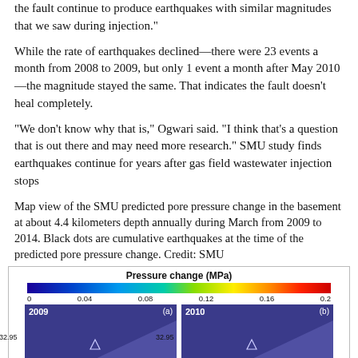the fault continue to produce earthquakes with similar magnitudes that we saw during injection."
While the rate of earthquakes declined—there were 23 events a month from 2008 to 2009, but only 1 event a month after May 2010—the magnitude stayed the same. That indicates the fault doesn't heal completely.
"We don't know why that is," Ogwari said. "I think that's a question that is out there and may need more research." SMU study finds earthquakes continue for years after gas field wastewater injection stops
Map view of the SMU predicted pore pressure change in the basement at about 4.4 kilometers depth annually during March from 2009 to 2014. Black dots are cumulative earthquakes at the time of the predicted pore pressure change. Credit: SMU
[Figure (other): Map view showing pressure change (MPa) colorbar scale from 0 to 0.2, with two map panels labeled 2009 (a) and 2010 (b) at latitude 32.95, showing predicted pore pressure change in blue-purple tones with triangle markers.]